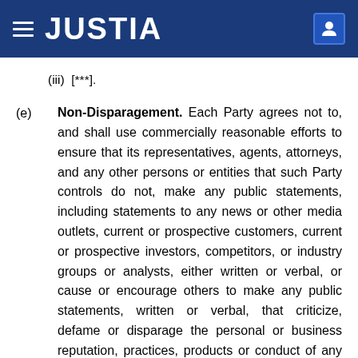JUSTIA
(iii) [***].
(e) Non-Disparagement. Each Party agrees not to, and shall use commercially reasonable efforts to ensure that its representatives, agents, attorneys, and any other persons or entities that such Party controls do not, make any public statements, including statements to any news or other media outlets, current or prospective customers, current or prospective investors, competitors, or industry groups or analysts, either written or verbal, or cause or encourage others to make any public statements, written or verbal, that criticize, defame or disparage the personal or business reputation, practices, products or conduct of any other Party or a Designee. The Parties